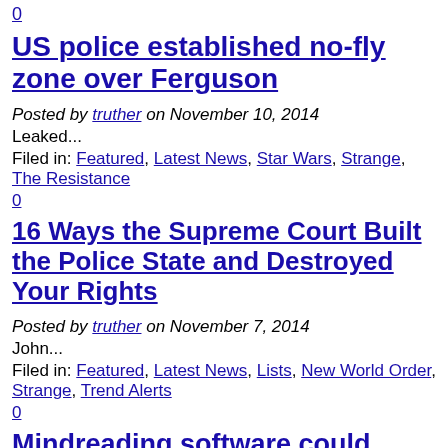0
US police established no-fly zone over Ferguson
Posted by truther on November 10, 2014
Leaked...
Filed in: Featured, Latest News, Star Wars, Strange, The Resistance
0
16 Ways the Supreme Court Built the Police State and Destroyed Your Rights
Posted by truther on November 7, 2014
John...
Filed in: Featured, Latest News, Lists, New World Order, Strange, Trend Alerts
0
Mindreading software could eavesdrop on your secret inner voice